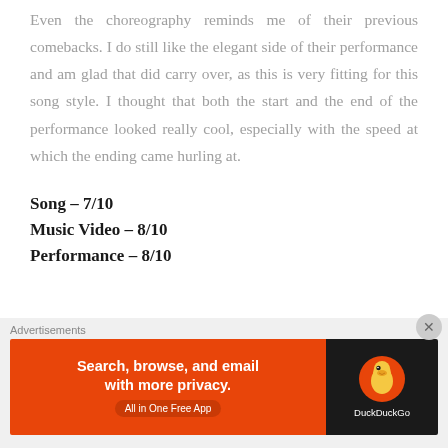Even the choreography reminds me of their previous comebacks. I do still like the elegant side of their performance and am glad that did carry over, as this is very fitting for this song style. I thought that both the start and the end of the performance looked really cool, especially with the speed at which the ending came hurling at.
Song – 7/10
Music Video – 8/10
Performance – 8/10
[Figure (screenshot): Advertisement banner: DuckDuckGo app ad with orange background on left reading 'Search, browse, and email with more privacy. All in One Free App' and dark background on right with DuckDuckGo logo and text.]